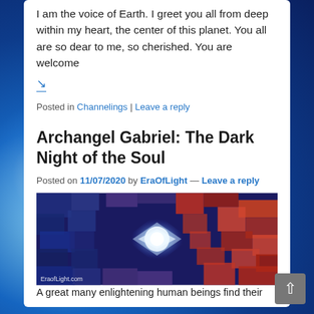I am the voice of Earth. I greet you all from deep within my heart, the center of this planet. You all are so dear to me, so cherished. You are welcome
↘
Posted in Channelings | Leave a reply
Archangel Gabriel: The Dark Night of the Soul
Posted on 11/07/2020 by EraOfLight — Leave a reply
[Figure (photo): Abstract digital art showing a glowing diamond/square shape in center with blue and red mosaic/pixel patterns radiating outward. Watermark: EraofLight.com]
A great many enlightening human beings find their